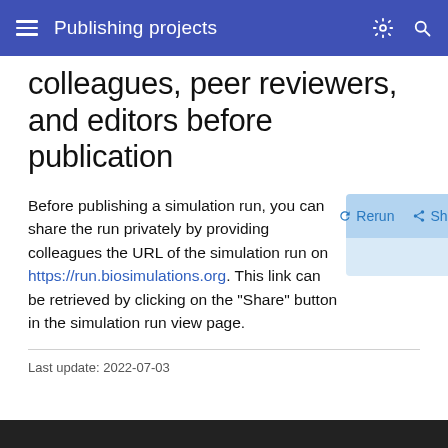Publishing projects
colleagues, peer reviewers, and editors before publication
Before publishing a simulation run, you can share the run privately by providing colleagues the URL of the simulation run on https://run.biosimulations.org. This link can be retrieved by clicking on the "Share" button in the simulation run view page.
[Figure (screenshot): UI toolbar showing Rerun, Share, and Publish buttons on a light blue background]
Last update: 2022-07-03